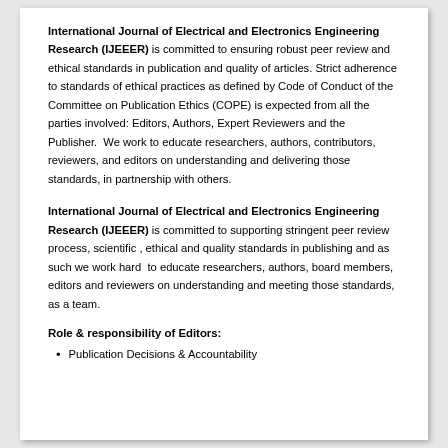International Journal of Electrical and Electronics Engineering Research (IJEEER) is committed to ensuring robust peer review and ethical standards in publication and quality of articles. Strict adherence to standards of ethical practices as defined by Code of Conduct of the Committee on Publication Ethics (COPE) is expected from all the parties involved: Editors, Authors, Expert Reviewers and the Publisher.  We work to educate researchers, authors, contributors, reviewers, and editors on understanding and delivering those standards, in partnership with others.
International Journal of Electrical and Electronics Engineering Research (IJEEER) is committed to supporting stringent peer review process, scientific , ethical and quality standards in publishing and as such we work hard  to educate researchers, authors, board members, editors and reviewers on understanding and meeting those standards, as a team.
Role & responsibility of Editors:
Publication Decisions & Accountability